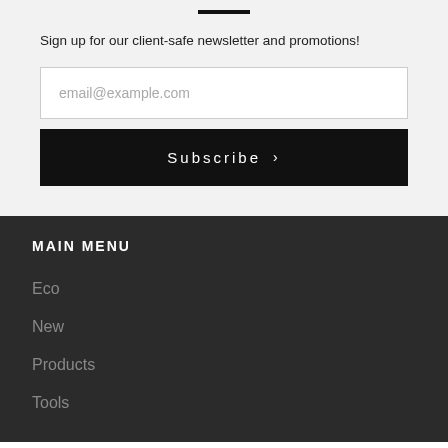Sign up for our client-safe newsletter and promotions!
email@example.com
Subscribe >
MAIN MENU
Eco
New
Products
Tools